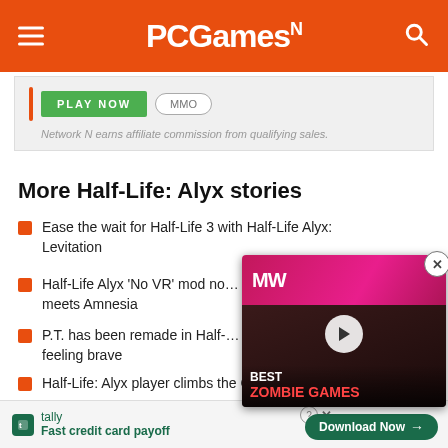PCGamesN
[Figure (screenshot): Ad unit with PLAY NOW green button and MMO tag, with affiliate disclaimer text]
Network N earns affiliate commission from qualifying sales.
More Half-Life: Alyx stories
Ease the wait for Half-Life 3 with Half-Life Alyx: Levitation
Half-Life Alyx 'No VR' mod no... meets Amnesia
P.T. has been remade in Half-... feeling brave
Half-Life: Alyx player climbs the Citadel – and the
[Figure (screenshot): Video overlay showing MW logo, play button, and text BEST ZOMBIE GAMES with close button]
tally — Fast credit card payoff — Download Now